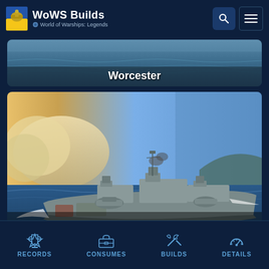WoWS Builds — World of Warships: Legends
[Figure (screenshot): Worcester ship card with sea background, white bold text 'Worcester' centered at bottom]
[Figure (screenshot): Khabarovsk destroyer ship on ocean at dusk/dawn, white bold text 'Khabarovsk' centered at bottom]
[Figure (screenshot): Partial third ship card visible at bottom]
RECORDS  CONSUMES  BUILDS  DETAILS